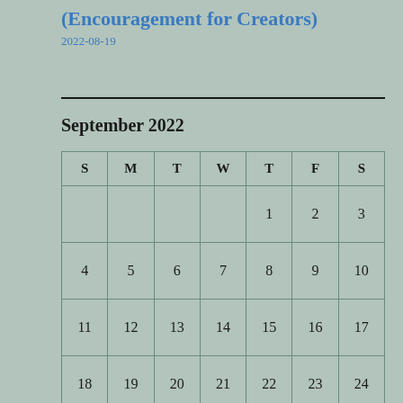(Encouragement for Creators)
2022-08-19
September 2022
| S | M | T | W | T | F | S |
| --- | --- | --- | --- | --- | --- | --- |
|  |  |  |  | 1 | 2 | 3 |
| 4 | 5 | 6 | 7 | 8 | 9 | 10 |
| 11 | 12 | 13 | 14 | 15 | 16 | 17 |
| 18 | 19 | 20 | 21 | 22 | 23 | 24 |
| 25 | 26 | 27 | 28 | 29 | 30 |  |